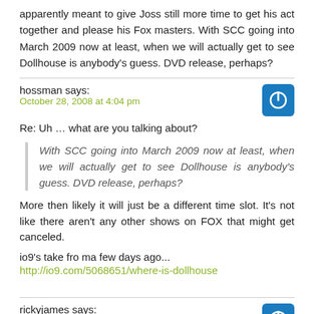apparently meant to give Joss still more time to get his act together and please his Fox masters. With SCC going into March 2009 now at least, when we will actually get to see Dollhouse is anybody's guess. DVD release, perhaps?
hossman says:
October 28, 2008 at 4:04 pm
Re: Uh … what are you talking about?
With SCC going into March 2009 now at least, when we will actually get to see Dollhouse is anybody's guess. DVD release, perhaps?
More then likely it will just be a different time slot. It's not like there aren't any other shows on FOX that might get canceled.
io9's take fro ma few days ago...
http://io9.com/5068651/where-is-dollhouse
rickyjames says:
October 28, 2008 at 11:37 am